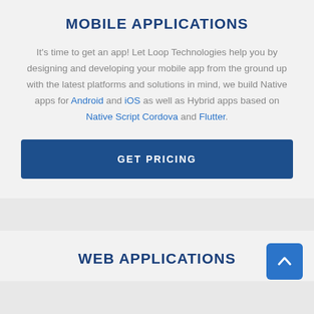MOBILE APPLICATIONS
It's time to get an app! Let Loop Technologies help you by designing and developing your mobile app from the ground up with the latest platforms and solutions in mind, we build Native apps for Android and iOS as well as Hybrid apps based on Native Script Cordova and Flutter.
GET PRICING
WEB APPLICATIONS